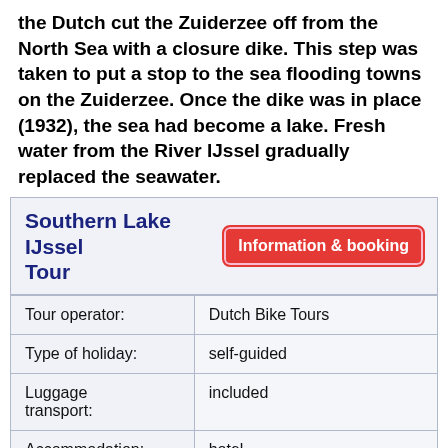the Dutch cut the Zuiderzee off from the North Sea with a closure dike. This step was taken to put a stop to the sea flooding towns on the Zuiderzee. Once the dike was in place (1932), the sea had become a lake. Fresh water from the River IJssel gradually replaced the seawater.
|  |  |
| --- | --- |
| Tour operator: | Dutch Bike Tours |
| Type of holiday: | self-guided |
| Luggage transport: | included |
| Accommodation: | hotel |
| Number of days: | 7 days |